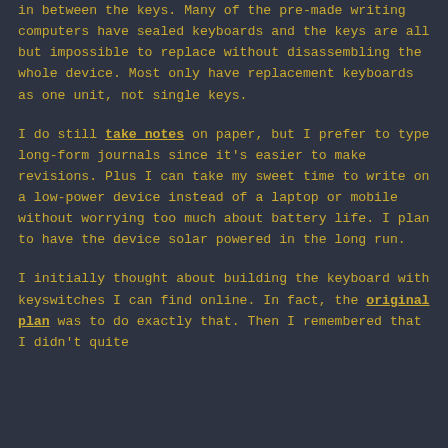in between the keys. Many of the pre-made writing computers have sealed keyboards and the keys are all but impossible to replace without disassembling the whole device. Most only have replacement keyboards as one unit, not single keys.
I do still take notes on paper, but I prefer to type long-form journals since it's easier to make revisions. Plus I can take my sweet time to write on a low-power device instead of a laptop or mobile without worrying too much about battery life. I plan to have the device solar powered in the long run.
I initially thought about building the keyboard with keyswitches I can find online. In fact, the original plan was to do exactly that. Then I remembered that I didn't quite